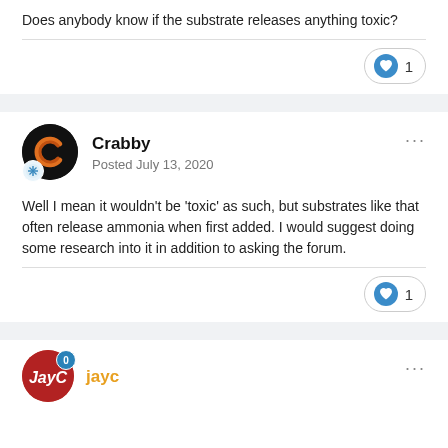Does anybody know if the substrate releases anything toxic?
1 like
Crabby
Posted July 13, 2020
Well I mean it wouldn't be 'toxic' as such, but substrates like that often release ammonia when first added. I would suggest doing some research into it in addition to asking the forum.
1 like
jayc